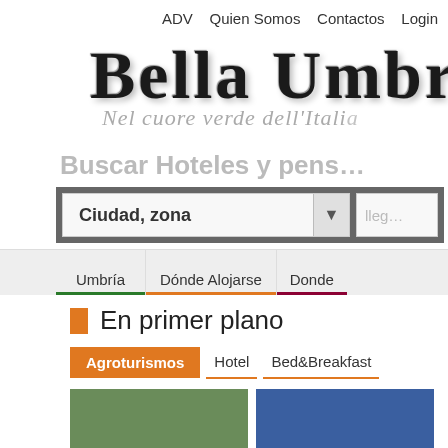ADV   Quien Somos   Contactos   Login
[Figure (logo): Bella Umbria logo with italic tagline 'Nel cuore verde dell'Italia']
Buscar Hoteles y pens…
[Figure (screenshot): Search bar with 'Ciudad, zona' dropdown and arrival date field]
Umbría | Dónde Alojarse | Donde…
En primer plano
Agroturismos   Hotel   Bed&Breakfast
[Figure (photo): Two small preview images - green landscape and blue image]